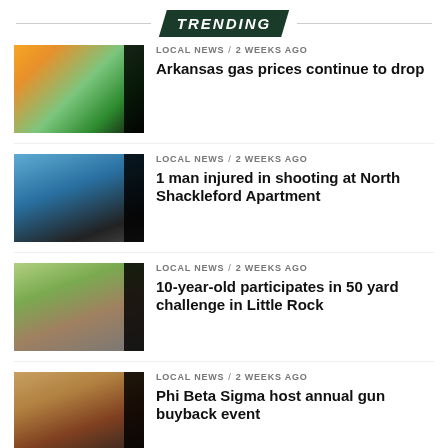TRENDING
LOCAL NEWS / 2 weeks ago
Arkansas gas prices continue to drop
LOCAL NEWS / 2 weeks ago
1 man injured in shooting at North Shackleford Apartment
LOCAL NEWS / 2 weeks ago
10-year-old participates in 50 yard challenge in Little Rock
LOCAL NEWS / 2 weeks ago
Phi Beta Sigma host annual gun buyback event
ARKANSAS / 2 weeks ago